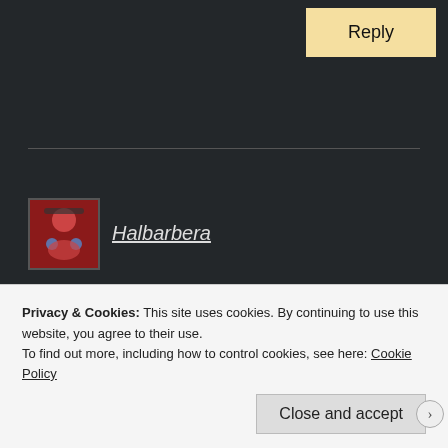Reply
Halbarbera
December 16, 2019 at 4:14 pm
An insane poem after my heart!
★ Liked by 1 person
Privacy & Cookies: This site uses cookies. By continuing to use this website, you agree to their use.
To find out more, including how to control cookies, see here: Cookie Policy
Close and accept